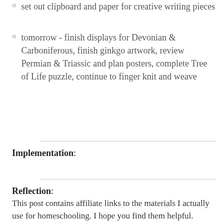set out clipboard and paper for creative writing pieces
tomorrow - finish displays for Devonian & Carboniferous, finish ginkgo artwork, review Permian & Triassic and plan posters, complete Tree of Life puzzle, continue to finger knit and weave
Implementation:
Reflection:
This post contains affiliate links to the materials I actually use for homeschooling. I hope you find them helpful. Thank you for your support!